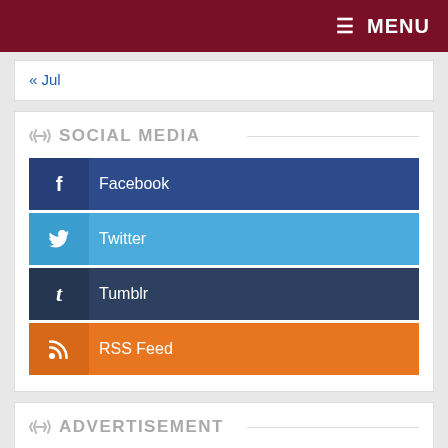≡ MENU
« Jul
SOCIAL MEDIA
Facebook
Twitter
Tumblr
RSS Feed
ADVERTISEMENT